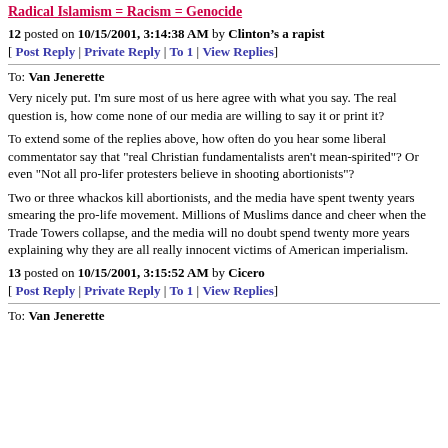Radical Islamism = Racism = Genocide
12 posted on 10/15/2001, 3:14:38 AM by Clinton’s a rapist
[ Post Reply | Private Reply | To 1 | View Replies]
To: Van Jenerette
Very nicely put. I'm sure most of us here agree with what you say. The real question is, how come none of our media are willing to say it or print it?
To extend some of the replies above, how often do you hear some liberal commentator say that "real Christian fundamentalists aren't mean-spirited"? Or even "Not all pro-lifer protesters believe in shooting abortionists"?
Two or three whackos kill abortionists, and the media have spent twenty years smearing the pro-life movement. Millions of Muslims dance and cheer when the Trade Towers collapse, and the media will no doubt spend twenty more years explaining why they are all really innocent victims of American imperialism.
13 posted on 10/15/2001, 3:15:52 AM by Cicero
[ Post Reply | Private Reply | To 1 | View Replies]
To: Van Jenerette